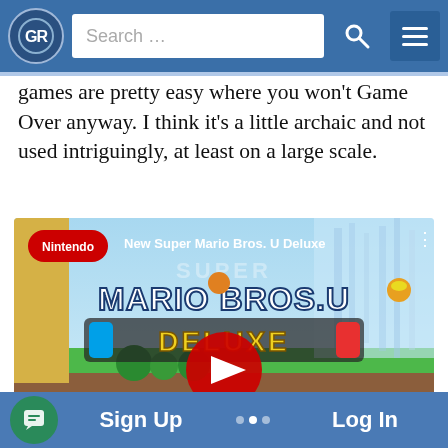GR logo, Search ..., Search icon, Menu icon
games are pretty easy where you won't Game Over anyway. I think it's a little archaic and not used intriguingly, at least on a large scale.
[Figure (screenshot): YouTube video thumbnail for 'New Super Mario Bros. U Deluxe' by Nintendo, showing the game title text 'MARIO BROS.U DELUXE' with Nintendo Switch logo and a YouTube play button overlay. The background shows colorful Mario game scenery.]
Sign Up  Log In